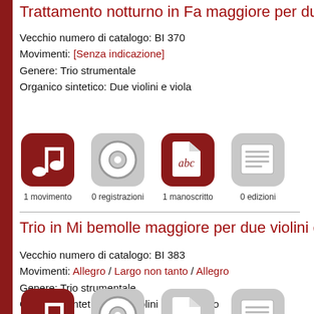Trattamento notturno in Fa maggiore per due vio...
Vecchio numero di catalogo: BI 370
Movimenti: [Senza indicazione]
Genere: Trio strumentale
Organico sintetico: Due violini e viola
[Figure (infographic): Four icons: music note (active/red), CD disc (inactive/grey), manuscript abc (active/red), document pages (inactive/grey). Labels: 1 movimento, 0 registrazioni, 1 manoscritto, 0 edizioni]
Trio in Mi bemolle maggiore per due violini e viol...
Vecchio numero di catalogo: BI 383
Movimenti: Allegro / Largo non tanto / Allegro
Genere: Trio strumentale
Organico sintetico: Due violini e violoncello
[Figure (infographic): Four icons: music note (active/red), CD disc (inactive/grey), manuscript abc (inactive/grey), document pages (inactive/grey). Partially visible at bottom.]